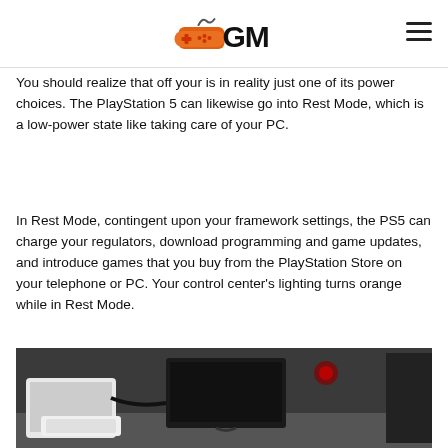GM (gaming logo)
You should realize that off your is in reality just one of its power choices. The PlayStation 5 can likewise go into Rest Mode, which is a low-power state like taking care of your PC.
In Rest Mode, contingent upon your framework settings, the PS5 can charge your regulators, download programming and game updates, and introduce games that you buy from the PlayStation Store on your telephone or PC. Your control center's lighting turns orange while in Rest Mode.
[Figure (photo): Photo of a PS5 console setup with cables and monitor visible]